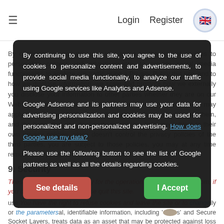≡   Login   Register 🇬🇧
By continuing to use this site, you agree to the use of cookies to personalize content and advertisements, to provide social media functionality, to analyze our traffic using Google services like Analytics and Adsense.
Google Adsense and its partners may use your data for advertising personalization and cookies may be used for personalized and non-personalized advertising. How does Google use my data?
Please use the following button to see the list of Google partners as well as all the details regarding cookies.
See details  |  I Accept
These cookies are mandatory for the operation of meet-lebanese.com, if you do not accept them please quit this site.
You have the right to refuse cookies and leave the site or to change the parameters